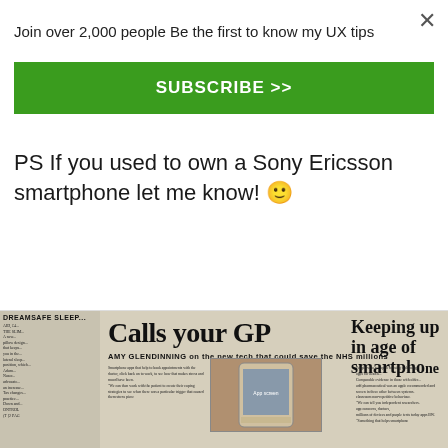Join over 2,000 people Be the first to know my UX tips
×
SUBSCRIBE >>
PS If you used to own a Sony Ericsson smartphone let me know! 🙂
[Figure (photo): Newspaper page showing article headline 'Calls your GP' by Amy Glendinning with a smartphone photo and article text. Sidebar shows 'Keeping up in age of smartphone'.]